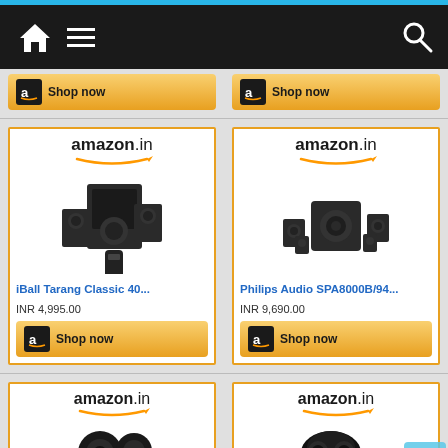[Figure (screenshot): Mobile app navigation bar with home icon, hamburger menu icon, and search icon on dark background]
[Figure (screenshot): Two Amazon.in Shop now buttons partially visible at top of page]
[Figure (screenshot): Amazon.in product card for iBall Tarang Classic 40... speaker system, INR 4,995.00 with Shop now button]
[Figure (screenshot): Amazon.in product card for Philips Audio SPA8000B/94... speaker system, INR 9,690.00 with Shop now button]
[Figure (screenshot): Amazon.in product card (partial) showing amazon.in logo and earbuds product image at bottom left]
[Figure (screenshot): Amazon.in product card (partial) showing amazon.in logo and earbuds product image at bottom right, with scroll-to-top chevron button]